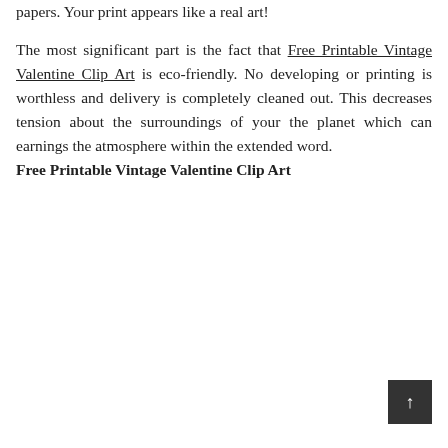papers. Your print appears like a real art! The most significant part is the fact that Free Printable Vintage Valentine Clip Art is eco-friendly. No developing or printing is worthless and delivery is completely cleaned out. This decreases tension about the surroundings of your the planet which can earnings the atmosphere within the extended word. Free Printable Vintage Valentine Clip Art